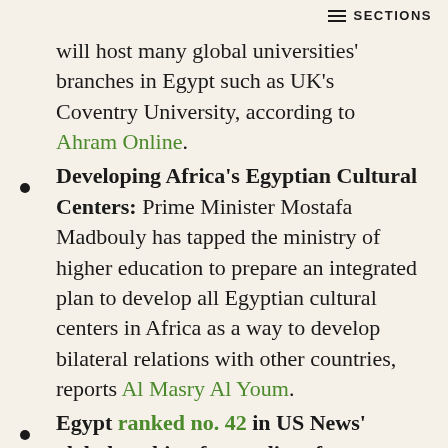SECTIONS
will host many global universities' branches in Egypt such as UK's Coventry University, according to Ahram Online.
Developing Africa's Egyptian Cultural Centers: Prime Minister Mostafa Madbouly has tapped the ministry of higher education to prepare an integrated plan to develop all Egyptian cultural centers in Africa as a way to develop bilateral relations with other countries, reports Al Masry Al Youm.
Egypt ranked no. 42 in US News' global ranking for quality of education, jumping nine places from last year.
Some 70k students applied to take the 2020/2021 admission exams for public